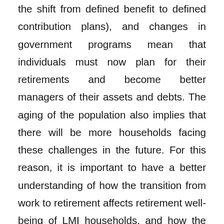the shift from defined benefit to defined contribution plans), and changes in government programs mean that individuals must now plan for their retirements and become better managers of their assets and debts. The aging of the population also implies that there will be more households facing these challenges in the future. For this reason, it is important to have a better understanding of how the transition from work to retirement affects retirement well-being of LMI households, and how the management of retirement resources can shape the ability of LMI individuals to maintain their standards of living for 30 or more years. Important determinants of planning for retirement and managing resources in retirement are peoples' financial literacy levels, as well as their ability to use financial